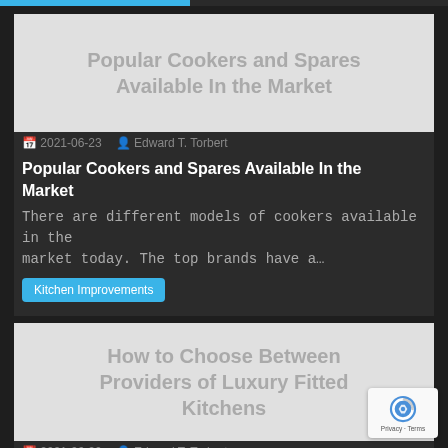[Figure (illustration): Blue and dark progress/tab bar at the top of the page]
[Figure (illustration): Article thumbnail image placeholder with gray background reading 'Popular Cookers and Spares Available In the Market']
2021-06-23  Edward T. Torbert
Popular Cookers and Spares Available In the Market
There are different models of cookers available in the market today. The top brands have a…
Kitchen Improvements
[Figure (illustration): Article thumbnail image placeholder with gray background reading 'How to Choose Between Providers of Luxury Fitted Kitchens']
2021-06-20  Edward T. Torbert
How to Choose Between Providers of Luxury Fitted Kitchens
One of the hardest parts of fitting out a brand new